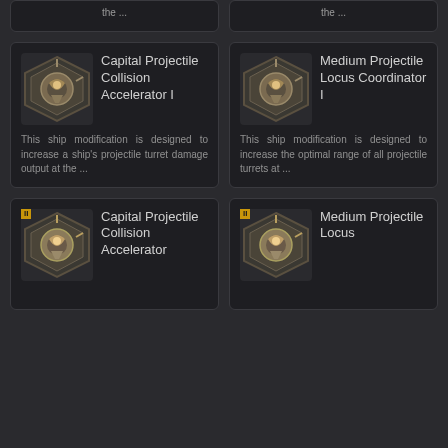the ...
the ...
[Figure (illustration): Capital Projectile Collision Accelerator I item card with icon and description]
[Figure (illustration): Medium Projectile Locus Coordinator I item card with icon and description]
[Figure (illustration): Capital Projectile Collision Accelerator (tier II) item card partial]
[Figure (illustration): Medium Projectile Locus item card partial]